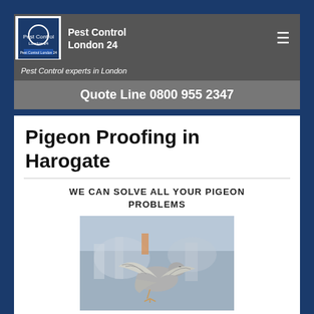Pest Control London 24
Pest Control experts in London
Quote Line 0800 955 2347
Pigeon Proofing in Harogate
WE CAN SOLVE ALL YOUR PIGEON PROBLEMS
[Figure (photo): A pigeon in flight with wings spread, blurred urban background]